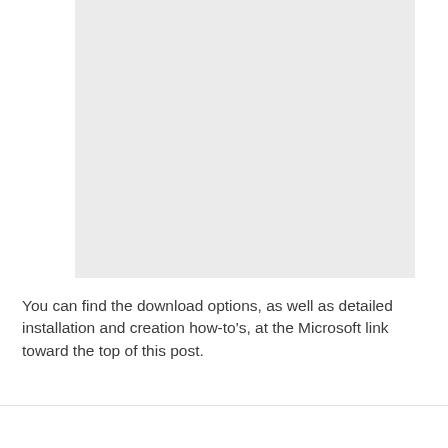[Figure (other): A light gray placeholder image rectangle]
You can find the download options, as well as detailed installation and creation how-to's, at the Microsoft link toward the top of this post.